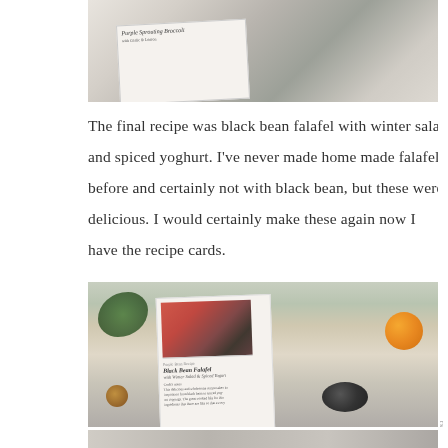[Figure (photo): Top portion of a photo showing a recipe card for Purple Sprouting Broccoli with garlic and lemon on a kitchen counter]
The final recipe was black bean falafel with winter salad and spiced yoghurt. I've never made home made falafel before and certainly not with black bean, but these were delicious. I would certainly make these again now I have the recipe cards.
[Figure (photo): Photo of a hand holding a recipe card for Black Bean Falafel with Winter Salad and Spiced Yogurt, surrounded by ingredients on a kitchen counter including green leaves, spice jars, an orange, and a dark bowl]
[Figure (photo): Bottom portion of another photo showing kitchen counter with ingredients including what appears to be a measuring scale and other items]